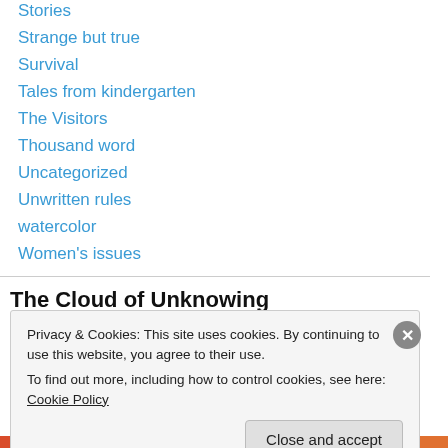Stories
Strange but true
Survival
Tales from kindergarten
The Visitors
Thousand word
Uncategorized
Unwritten rules
watercolor
Women's issues
The Cloud of Unknowing
Privacy & Cookies: This site uses cookies. By continuing to use this website, you agree to their use.
To find out more, including how to control cookies, see here: Cookie Policy
Close and accept